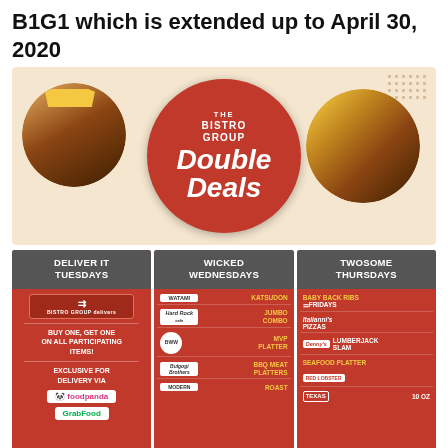B1G1 which is extended up to April 30, 2020
[Figure (infographic): The Bistro Group Double Deals promotional image with food photos and red circle logo]
DELIVER IT TUESDAYS - BUY ONE, GET ONE ON ALL PARTICIPATING ITEMS! EXCLUSIVE FOR DELIVERY VIA foodpanda GrabFood
WICKED WEDNESDAYS - WATAMI KATSUDON, Hard Rock Cafe JUMBO COMBO, Buffalo Wild Wings MVP PLATTER, Bulgogi Brothers BBQ MEAT PLATTERS, MODERN ROAST
TWOSOME THURSDAYS - BABY BACK RIBS TGI FRIDAYS, Italianni's PIZZAS, Denny's LUMBERJACK SLAM, SEAFOOD PLATTER Red Lobster, TEXAS 10 OZ